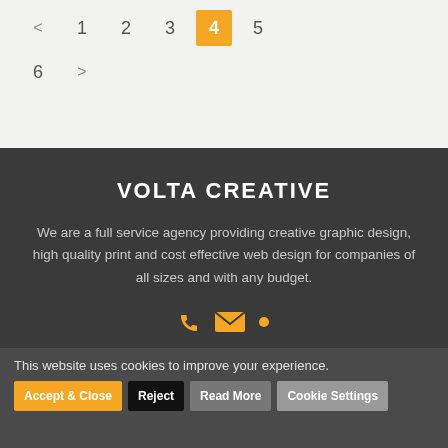< 1 2 3 4 5
6 >
VOLTA CREATIVE
We are a full service agency providing creative graphic design, high quality print and cost effective web design for companies of all sizes and with any budget.
This website uses cookies to improve your experience.
Accept & Close   Reject   Read More   Cookie Settings